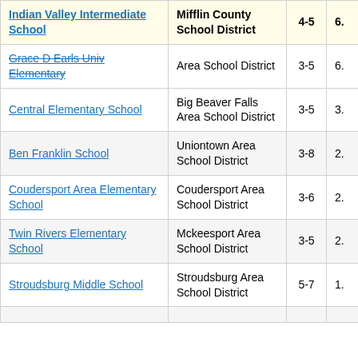| School | District | 4-5 | 6- |
| --- | --- | --- | --- |
| Indian Valley Intermediate School | Mifflin County School District | 4-5 | 6. |
| Grace D Earls Univ Elementary | Area School District | 3-5 | 6. |
| Central Elementary School | Big Beaver Falls Area School District | 3-5 | 3. |
| Ben Franklin School | Uniontown Area School District | 3-8 | 2. |
| Coudersport Area Elementary School | Coudersport Area School District | 3-6 | 2. |
| Twin Rivers Elementary School | Mckeesport Area School District | 3-5 | 2. |
| Stroudsburg Middle School | Stroudsburg Area School District | 5-7 | 1. |